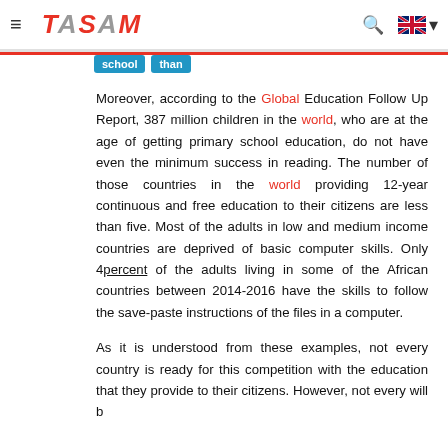TASAM
Moreover, according to the Global Education Follow Up Report, 387 million children in the world, who are at the age of getting primary school education, do not have even the minimum success in reading. The number of those countries in the world providing 12-year continuous and free education to their citizens are less than five. Most of the adults in low and medium income countries are deprived of basic computer skills. Only 4percent of the adults living in some of the African countries between 2014-2016 have the skills to follow the save-paste instructions of the files in a computer.
As it is understood from these examples, not every country is ready for this competition with the education that they provide to their citizens. However, not every will b...